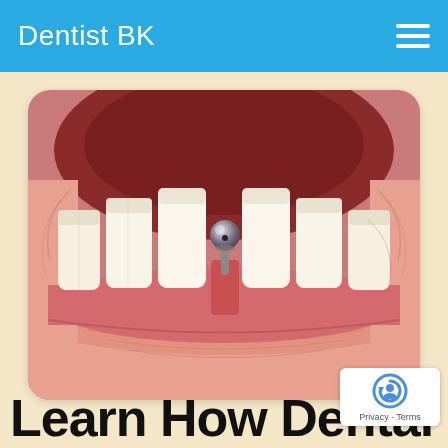Dentist BK
[Figure (photo): Close-up photograph of an open human mouth showing teeth and a dental implant post (metal abutment) placed between two front lower teeth, surrounded by pink gum tissue and lips.]
Learn How Dental